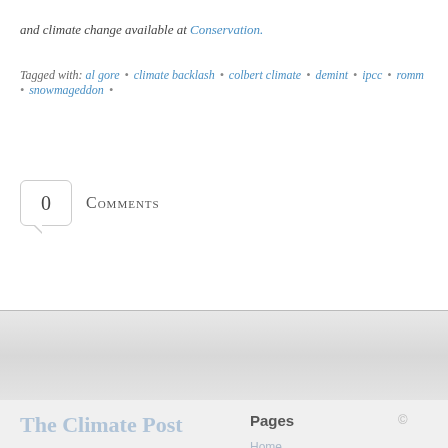and climate change available at Conservation.
Tagged with: al gore • climate backlash • colbert climate • demint • ipcc • romm • snowmageddon •
0 Comments
The Climate Post
Pages
Home
About The Climate Post
About the Nicholas Institute
Comment and Reprint Policies
©